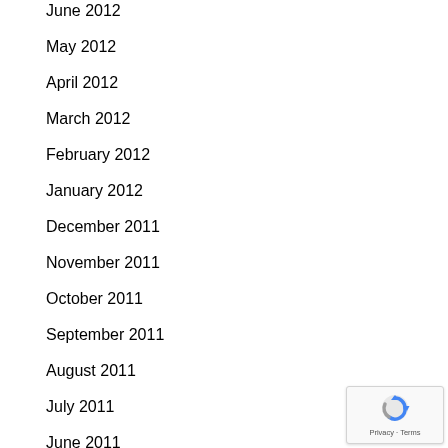June 2012
May 2012
April 2012
March 2012
February 2012
January 2012
December 2011
November 2011
October 2011
September 2011
August 2011
July 2011
June 2011
May 2011
April 2011
[Figure (logo): Google reCAPTCHA badge with privacy and terms links]